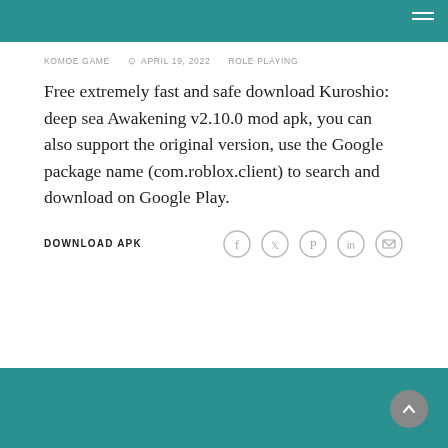KOMOE GAME   APRIL 19, 2022   ROLE PLAYING
Free extremely fast and safe download Kuroshio: deep sea Awakening v2.10.0 mod apk, you can also support the original version, use the Google package name (com.roblox.client) to search and download on Google Play.
DOWNLOAD APK
[Figure (infographic): Social sharing icons: Facebook, Twitter, Pinterest, LinkedIn, Email — circular outlined icons]
[Figure (infographic): Scroll-to-top button: dark gray circle with upward chevron]